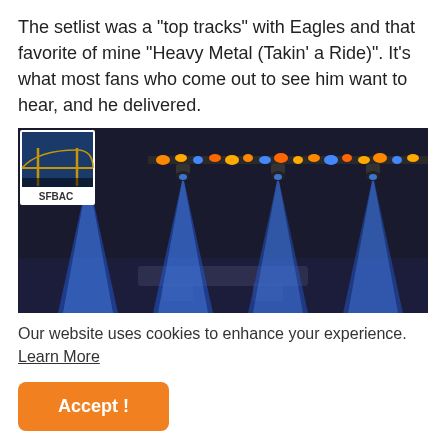The setlist was a "top tracks" with Eagles and that favorite of mine "Heavy Metal (Takin' a Ride)". It's what most fans who come out to see him want to hear, and he delivered.
[Figure (photo): Concert stage photo showing blue stage lights beaming downward against a dark background, with a row of colorful orange and blue lighting fixtures across the top. An SFBAC logo/watermark appears in the upper-left corner.]
Our website uses cookies to enhance your experience. Learn More
Accept!